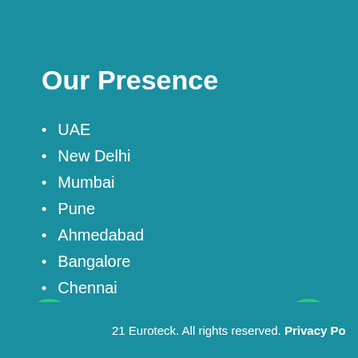Our Presence
UAE
New Delhi
Mumbai
Pune
Ahmedabad
Bangalore
Chennai
Visakhapatnam
Hyderabad
21 Euroteck. All rights reserved. Privacy Po